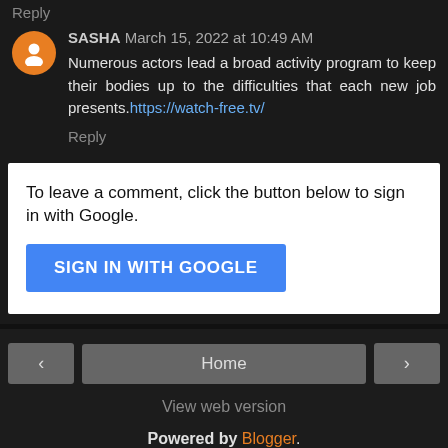Reply
SASHA March 15, 2022 at 10:49 AM
Numerous actors lead a broad activity program to keep their bodies up to the difficulties that each new job presents. https://watch-free.tv/
Reply
To leave a comment, click the button below to sign in with Google.
SIGN IN WITH GOOGLE
Home
View web version
Powered by Blogger.